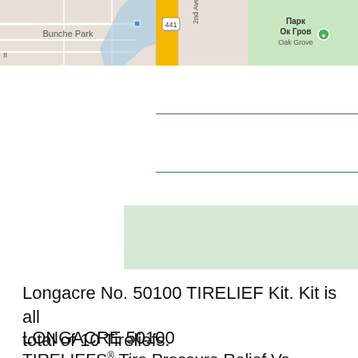[Figure (screenshot): Partial Google Map showing Bunche Park area with route 441, Oak Grove park label in Russian (Парк Ок Гров) and English, road network visible]
[Figure (screenshot): Green highlighted bar/form section from a webpage]
Longacre No. 50100 TIRELIEF Kit. Kit is all total of 10 Tireliefs.
LONGACRE 50100
TIRELIEFS® Tire Pressure Relief Va...